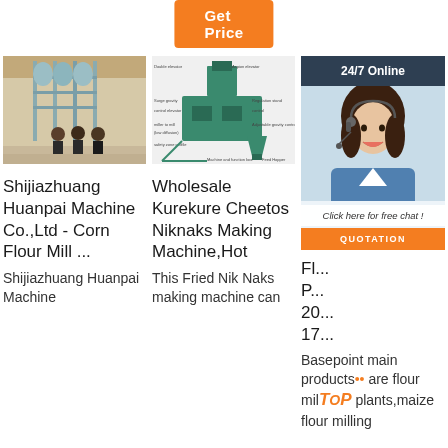[Figure (other): Orange 'Get Price' button at the top center]
[Figure (photo): Photo of flour mill machinery with three workers standing in front of industrial equipment]
[Figure (schematic): Diagram/schematic of Kurekure Cheetos Niknaks making machine with labeled parts]
[Figure (other): 24/7 Online chat box with a woman wearing headset and buttons for free chat and quotation]
Shijiazhuang Huanpai Machine Co.,Ltd - Corn Flour Mill ...
Wholesale Kurekure Cheetos Niknaks Making Machine,Hot
Fl... P... 20... 17...
Shijiazhuang Huanpai Machine
This Fried Nik Naks making machine can
Basepoint main products are flour milling plants,maize flour milling